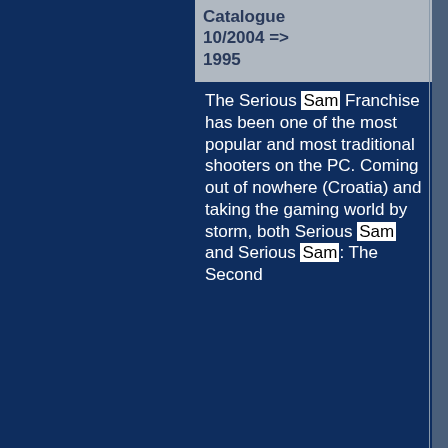Catalogue 10/2004 => 1995
The Serious Sam Franchise has been one of the most popular and most traditional shooters on the PC. Coming out of nowhere (Croatia) and taking the gaming world by storm, both Serious Sam and Serious Sam: The Second